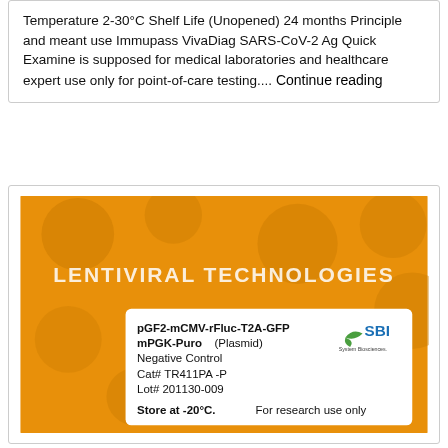Temperature 2-30°C Shelf Life (Unopened) 24 months Principle and meant use Immupass VivaDiag SARS-CoV-2 Ag Quick Examine is supposed for medical laboratories and healthcare expert use only for point-of-care testing.... Continue reading
[Figure (photo): Orange packaging for Lentiviral Technologies product labeled pGF2-mCMV-rFluc-T2A-GFP mPGK-Puro (Plasmid), Negative Control, Cat# TR411PA-P, Lot# 201130-009, Store at -20°C, For research use only, with SBI System Biosciences logo.]